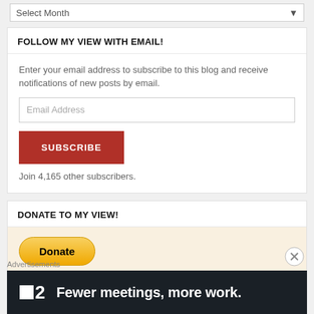Select Month
FOLLOW MY VIEW WITH EMAIL!
Enter your email address to subscribe to this blog and receive notifications of new posts by email.
Email Address
SUBSCRIBE
Join 4,165 other subscribers.
DONATE TO MY VIEW!
[Figure (other): PayPal Donate button - yellow pill-shaped button with text Donate]
Advertisements
[Figure (other): Advertisement banner with dark background showing logo F2 and text: Fewer meetings, more work.]